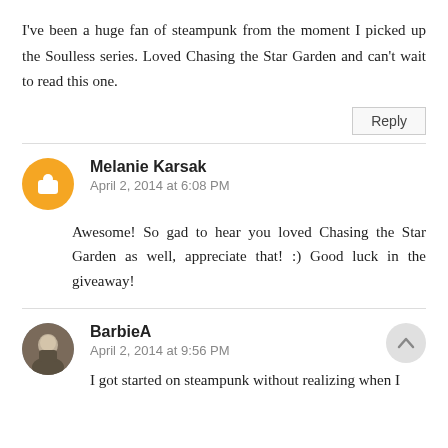I've been a huge fan of steampunk from the moment I picked up the Soulless series. Loved Chasing the Star Garden and can't wait to read this one.
Reply
Melanie Karsak
April 2, 2014 at 6:08 PM
Awesome! So gad to hear you loved Chasing the Star Garden as well, appreciate that! :) Good luck in the giveaway!
BarbieA
April 2, 2014 at 9:56 PM
I got started on steampunk without realizing when I